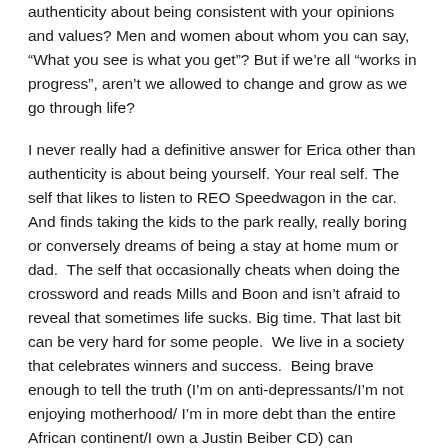authenticity about being consistent with your opinions and values? Men and women about whom you can say, “What you see is what you get”? But if we’re all “works in progress”, aren’t we allowed to change and grow as we go through life?
I never really had a definitive answer for Erica other than authenticity is about being yourself. Your real self. The self that likes to listen to REO Speedwagon in the car.  And finds taking the kids to the park really, really boring or conversely dreams of being a stay at home mum or dad.  The self that occasionally cheats when doing the crossword and reads Mills and Boon and isn’t afraid to reveal that sometimes life sucks. Big time. That last bit can be very hard for some people.  We live in a society that celebrates winners and success.  Being brave enough to tell the truth (I’m on anti-depressants/I’m not enjoying motherhood/ I’m in more debt than the entire African continent/I own a Justin Beiber CD) can sometimes make others uneasy. Plus we live in a time when cynical is the new black. Everything gets mocked.